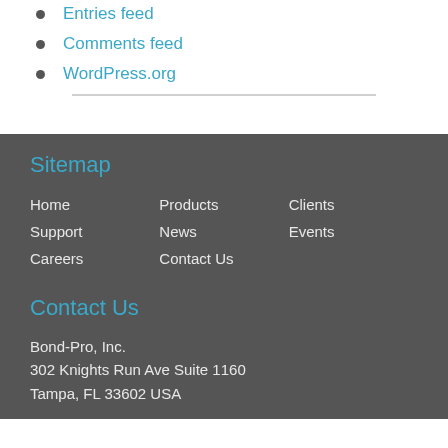Entries feed
Comments feed
WordPress.org
Sitemap
Home
Products
Clients
Support
News
Events
Careers
Contact Us
Contact Us
Bond-Pro, Inc.
302 Knights Run Ave Suite 1160
Tampa, FL 33602 USA